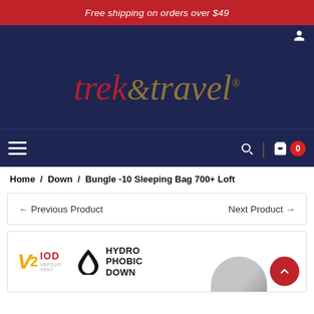Free shipping on orders over $49
[Figure (logo): trek & travel logo on dark navy background]
Home / Down / Bungle -10 Sleeping Bag 700+ Loft
← Previous Product    Next Product →
[Figure (logo): V2 IOD Vapour Vent logo and Hydro Phobic Down logo]